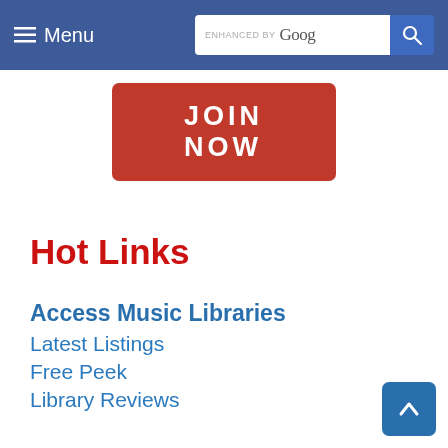Menu | ENHANCED BY Google [search]
[Figure (screenshot): Red JOIN NOW button]
Hot Links
Access Music Libraries
Latest Listings
Free Peek
Library Reviews
Quick Start
Earn Free Access
Affiliates Program
Phone Consultation
Tunesat 25% Off